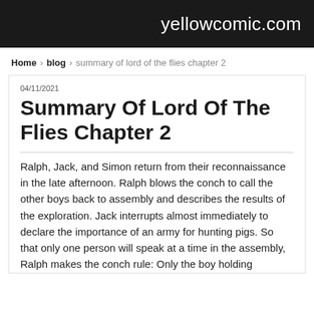yellowcomic.com
Home › blog › summary of lord of the flies chapter 2
04/11/2021
Summary Of Lord Of The Flies Chapter 2
Ralph, Jack, and Simon return from their reconnaissance in the late afternoon. Ralph blows the conch to call the other boys back to assembly and describes the results of the exploration. Jack interrupts almost immediately to declare the importance of an army for hunting pigs. So that only one person will speak at a time in the assembly, Ralph makes the conch rule: Only the boy holding